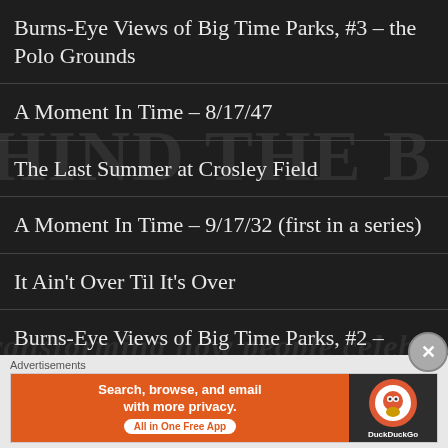Burns-Eye Views of Big Time Parks, #3 – the Polo Grounds
A Moment In Time – 8/17/47
The Last Summer at Crosley Field
A Moment In Time – 9/17/32 (first in a series)
It Ain't Over Til It's Over
Burns-Eye Views of Big Time Parks, #2 – Baker Bowl
So Long, Shea
You Gotta Believe (in YouTube)!!
Advertisements
[Figure (screenshot): DuckDuckGo advertisement banner: orange background with text 'Search, browse, and email with more privacy. All in One Free App' and DuckDuckGo logo on dark background]